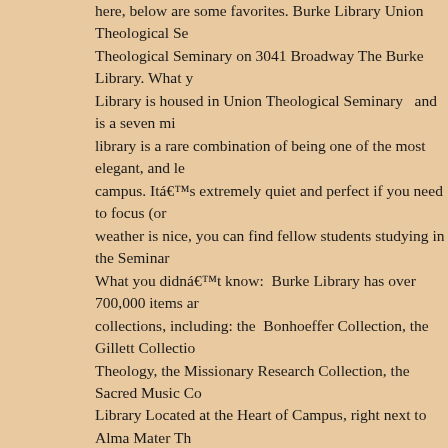here, below are some favorites. Burke Library Union Theological Seminary on 3041 Broadway The Burke Library. What y Library is housed in Union Theological Seminary and is a seven mi library is a rare combination of being one of the most elegant, and le campus. Itâ€™s extremely quiet and perfect if you need to focus (or weather is nice, you can find fellow students studying in the Seminar What you didnâ€™t know: Burke Library has over 700,000 items ar collections, including: the Bonhoeffer Collection, the Gillett Collectio Theology, the Missionary Research Collection, the Sacred Music Co Library Located at the Heart of Campus, right next to Alma Mater Th Photo Credit: Wally Gobetz on Flickr. What you need to know: Low L 1897 and served as Columbiaâ€™s main library until the early 1930 are over, Low plays an important role on campus. The rotunda is use ceremonies and events, ranging from the Pulitzer Prize award cerer area for students during finals. The building houses both the offices President and Provost. What you didnâ€™t know: Structured after th claimed that Low Memorial Libraryâ€™s dome is the largest freesta United States. Thomas J. Watson Library of Business and Economic Business School in Uris Hall on 3022 Broadway The Thomas J. Wat and Economics. What you need to know: Nestled in Columbiaâ€™s Thomas J. Watson Library of Business and Economics is an excelle for SIPA students interested in resources related to finance and man